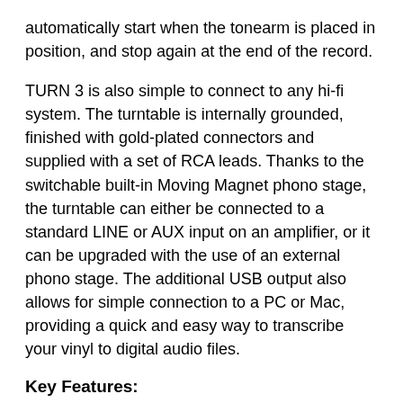automatically start when the tonearm is placed in position, and stop again at the end of the record.
TURN 3 is also simple to connect to any hi-fi system. The turntable is internally grounded, finished with gold-plated connectors and supplied with a set of RCA leads. Thanks to the switchable built-in Moving Magnet phono stage, the turntable can either be connected to a standard LINE or AUX input on an amplifier, or it can be upgraded with the use of an external phono stage. The additional USB output also allows for simple connection to a PC or Mac, providing a quick and easy way to transcribe your vinyl to digital audio files.
Key Features:
Belt-drive Hi-Fi Turntable
Pre-installed Ortofon 2M Red cartridge
Specially designed tonearm for optimal tracking performance
Headshell connection provides added flexibility